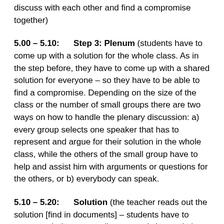discuss with each other and find a compromise together)
5.00 – 5.10:      Step 3: Plenum (students have to come up with a solution for the whole class. As in the step before, they have to come up with a shared solution for everyone – so they have to be able to find a compromise. Depending on the size of the class or the number of small groups there are two ways on how to handle the plenary discussion: a) every group selects one speaker that has to represent and argue for their solution in the whole class, while the others of the small group have to help and assist him with arguments or questions for the others, or b) everybody can speak.
5.10 – 5.20:      Solution (the teacher reads out the solution [find in documents] – students have to compare their own, small group and class solutions with the solution offered by the teacher and calculate the difference to their solutions. While reading out the